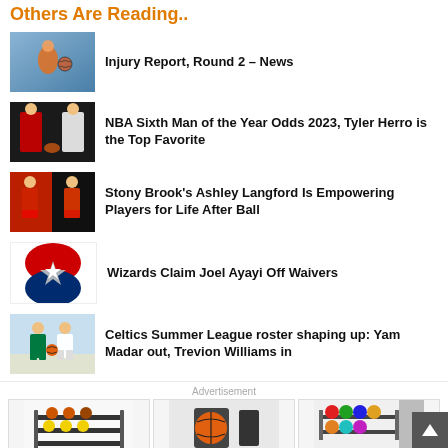Others Are Reading..
Injury Report, Round 2 – News
NBA Sixth Man of the Year Odds 2023, Tyler Herro is the Top Favorite
Stony Brook's Ashley Langford Is Empowering Players for Life After Ball
Wizards Claim Joel Ayayi Off Waivers
Celtics Summer League roster shaping up: Yam Madar out, Trevion Williams in
Advertisement
[Figure (photo): Three advertisement product images showing basketball storage racks]
[Figure (photo): Scroll to top button]
[Figure (photo): Basketball player in blue uniform dribbling]
[Figure (photo): NBA players during a game, two players facing each other]
[Figure (photo): Basketball players in red and dark uniforms on court]
[Figure (photo): Washington Wizards logo with red and blue star]
[Figure (photo): Celtics players in green uniforms during summer league game]